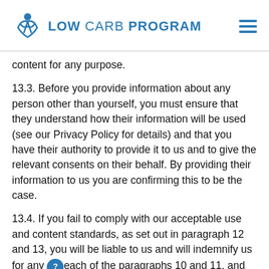LOW CARB PROGRAM
content for any purpose.
13.3. Before you provide information about any person other than yourself, you must ensure that they understand how their information will be used (see our Privacy Policy for details) and that you have their authority to provide it to us and to give the relevant consents on their behalf. By providing their information to us you are confirming this to be the case.
13.4. If you fail to comply with our acceptable use and content standards, as set out in paragraph 12 and 13, you will be liable to us and will indemnify us for any breach of the paragraphs 10 and 11, and we may: